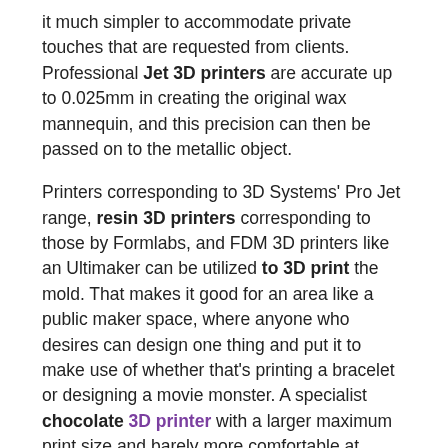it much simpler to accommodate private touches that are requested from clients. Professional Jet 3D printers are accurate up to 0.025mm in creating the original wax mannequin, and this precision can then be passed on to the metallic object.
Printers corresponding to 3D Systems' Pro Jet range, resin 3D printers corresponding to those by Formlabs, and FDM 3D printers like an Ultimaker can be utilized to 3D print the mold. That makes it good for an area like a public maker space, where anyone who desires can design one thing and put it to make use of whether that's printing a bracelet or designing a movie monster. A specialist chocolate 3D printer with a larger maximum print size and barely more comfortable at larger speeds, the Mmuse touchscreen chocolate 3D printer is perfect if you've obtained the funds. The thick paste extruder can print chocolate in addition to sweet materials like icing and cookie dough. Its nozzle-tipped arm tracks again and further with great is an issue you have to have.